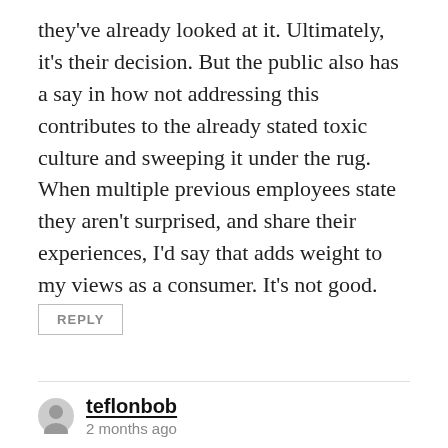they've already looked at it. Ultimately, it's their decision. But the public also has a say in how not addressing this contributes to the already stated toxic culture and sweeping it under the rug. When multiple previous employees state they aren't surprised, and share their experiences, I'd say that adds weight to my views as a consumer. It's not good.
REPLY
teflonbob
2 months ago
Sorry my bad. I fell for a common thing… I noticed the post on Reddit on the weekend and brain farted assuming it was posted